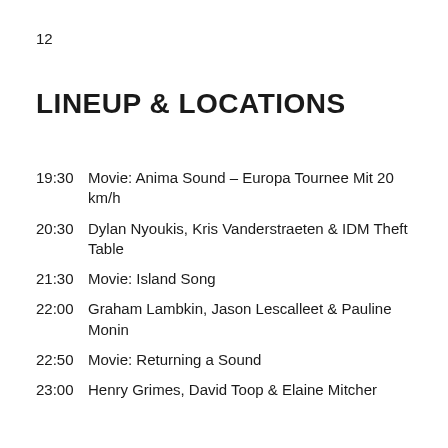12
LINEUP & LOCATIONS
19:30 Movie: Anima Sound – Europa Tournee Mit 20 km/h
20:30 Dylan Nyoukis, Kris Vanderstraeten & IDM Theft Table
21:30 Movie: Island Song
22:00 Graham Lambkin, Jason Lescalleet & Pauline Monin
22:50 Movie: Returning a Sound
23:00 Henry Grimes, David Toop & Elaine Mitcher